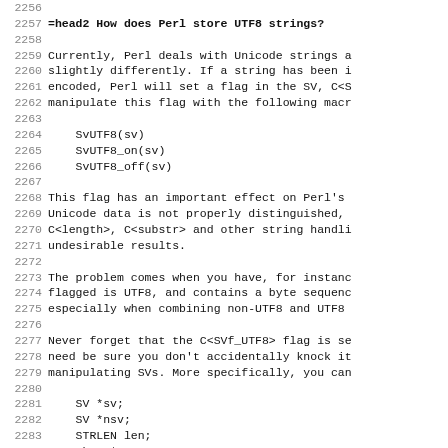Source code listing showing Perl documentation about UTF8 string handling, lines 2256-2288
=head2 How does Perl store UTF8 strings?
Currently, Perl deals with Unicode strings a slightly differently. If a string has been i encoded, Perl will set a flag in the SV, C<S manipulate this flag with the following macr
SvUTF8(sv)
SvUTF8_on(sv)
SvUTF8_off(sv)
This flag has an important effect on Perl's Unicode data is not properly distinguished, C<length>, C<substr> and other string handli undesirable results.
The problem comes when you have, for instanc flagged is UTF8, and contains a byte sequenc especially when combining non-UTF8 and UTF8
Never forget that the C<SVf_UTF8> flag is se need be sure you don't accidentally knock it manipulating SVs. More specifically, you can
SV *sv;
SV *nsv;
STRLEN len;
char *p;

p = SvPV(sv, len);
frobnicate(p);